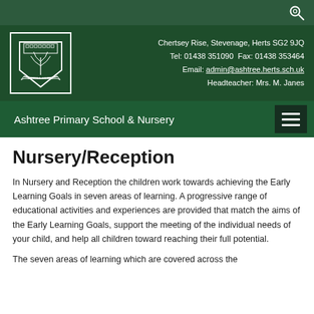Chertsey Rise, Stevenage, Herts SG2 9JQ
Tel: 01438 351090  Fax: 01438 353464
Email: admin@ashtree.herts.sch.uk
Headteacher: Mrs. M. Janes
Ashtree Primary School & Nursery
Nursery/Reception
In Nursery and Reception the children work towards achieving the Early Learning Goals in seven areas of learning. A progressive range of educational activities and experiences are provided that match the aims of the Early Learning Goals, support the meeting of the individual needs of your child, and help all children toward reaching their full potential.
The seven areas of learning which are covered across the